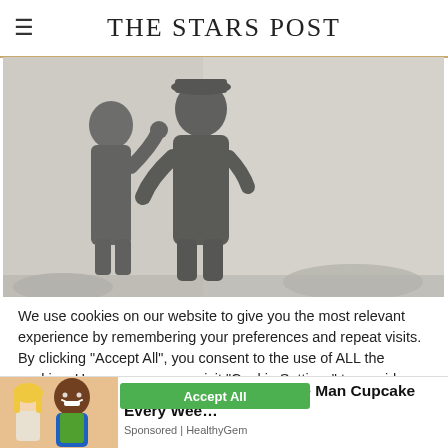THE STARS POST
[Figure (photo): Two silhouettes of people standing facing each other in misty/foggy outdoor setting, romantic or confrontational pose]
We use cookies on our website to give you the most relevant experience by remembering your preferences and repeat visits. By clicking "Accept All", you consent to the use of ALL the cookies. However, you may visit "Cookie Settings" to provide a controlled consent.
[Figure (photo): Advertisement showing a young blonde girl and a smiling man in a blue shirt and green vest (garbage collector). Ad text: [Pics] Girl Gives Garbage Man Cupcake Every Wee... Sponsored | HealthyGem]